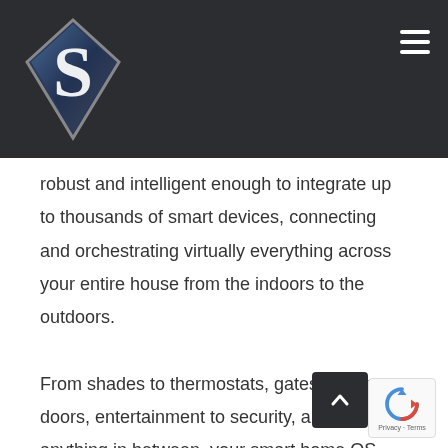[Figure (logo): Diamond-shaped logo with stylized white S letter on dark blue background, with grey/silver border, on dark header background]
robust and intelligent enough to integrate up to thousands of smart devices, connecting and orchestrating virtually everything across your entire house from the indoors to the outdoors.

From shades to thermostats, gates to garage doors, entertainment to security, and almost anything in between, your smart home OS should enable connectivity with the devices, products, and systems that you use every day. So, whether you're interacting